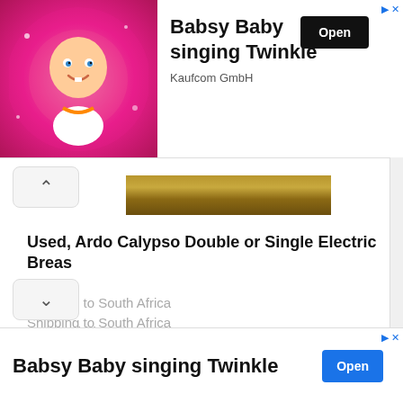[Figure (photo): Top advertisement banner showing Babsy Baby singing Twinkle app with animated baby character on pink background, Kaufcom GmbH, with Open button]
[Figure (photo): Partial product image showing wooden surface/item (breast pump listing image)]
Used, Ardo Calypso Double or Single Electric Breas
Shipping to South Africa
eBay  9 bids,
Price: 126 R
Product condition: Used
See details
[Figure (photo): Bottom advertisement banner for Babsy Baby singing Twinkle with Open button]